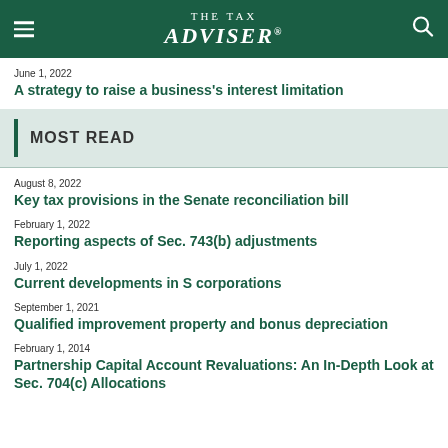[Figure (logo): The Tax Adviser logo in white on dark green header bar with hamburger menu icon and search icon]
June 1, 2022
A strategy to raise a business's interest limitation
MOST READ
August 8, 2022
Key tax provisions in the Senate reconciliation bill
February 1, 2022
Reporting aspects of Sec. 743(b) adjustments
July 1, 2022
Current developments in S corporations
September 1, 2021
Qualified improvement property and bonus depreciation
February 1, 2014
Partnership Capital Account Revaluations: An In-Depth Look at Sec. 704(c) Allocations